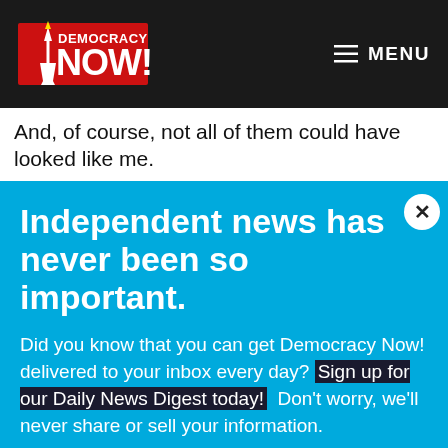Democracy Now! | MENU
And, of course, not all of them could have looked like me.
Independent news has never been so important.
Did you know that you can get Democracy Now! delivered to your inbox every day? Sign up for our Daily News Digest today! Don't worry, we'll never share or sell your information.
EMAIL
SIGN UP!